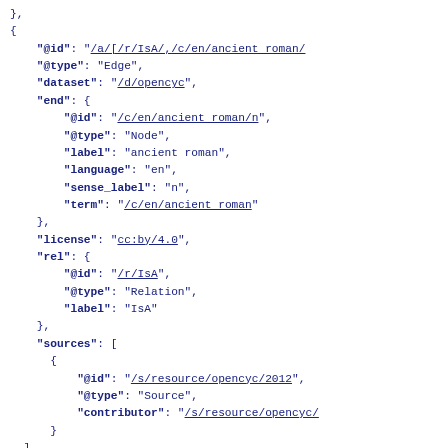},
{
    "@id": "/a/[/r/IsA/,/c/en/ancient_roman/"
    "@type": "Edge",
    "dataset": "/d/opencyc",
    "end": {
        "@id": "/c/en/ancient_roman/n",
        "@type": "Node",
        "label": "ancient roman",
        "language": "en",
        "sense_label": "n",
        "term": "/c/en/ancient_roman"
    },
    "license": "cc:by/4.0",
    "rel": {
        "@id": "/r/IsA",
        "@type": "Relation",
        "label": "IsA"
    },
    "sources": [
        {
            "@id": "/s/resource/opencyc/2012",
            "@type": "Source",
            "contributor": "/s/resource/opencyc/"
        }
    ]